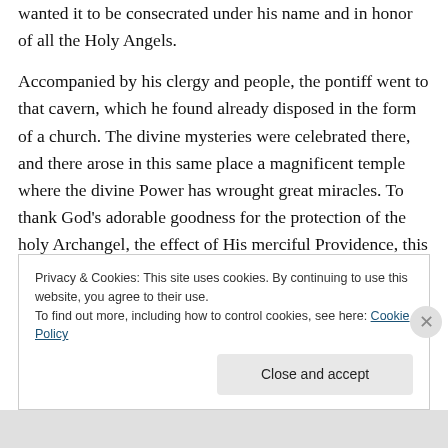wanted it to be consecrated under his name and in honor of all the Holy Angels.
Accompanied by his clergy and people, the pontiff went to that cavern, which he found already disposed in the form of a church. The divine mysteries were celebrated there, and there arose in this same place a magnificent temple where the divine Power has wrought great miracles. To thank God's adorable goodness for the protection of the holy Archangel, the effect of His merciful Providence, this feast day was instituted by the Church in his honor.
Privacy & Cookies: This site uses cookies. By continuing to use this website, you agree to their use.
To find out more, including how to control cookies, see here: Cookie Policy